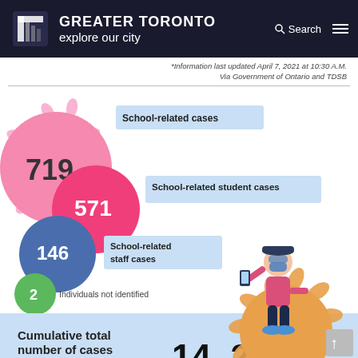GREATER TORONTO explore our city
*Information last updated April 7, 2021 at 10:30 A.M. Via Government of Ontario and TDSB
[Figure (infographic): COVID-19 school cases infographic showing: 719 School-related cases (large pink virus bubble), 571 School-related student cases (hot pink medium bubble), 146 School-related staff cases (blue bubble), 2 Individuals not identified (green bubble), Cumulative total number of cases reported: 14,213. Illustration of a person sitting on an orange coronavirus.]